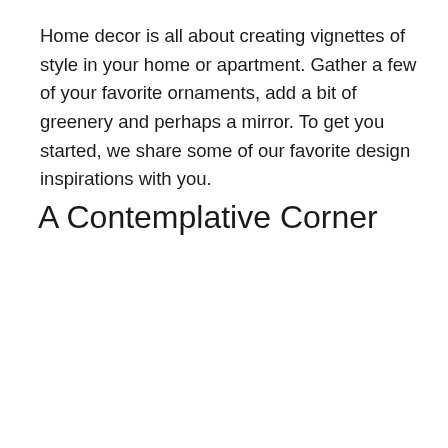Home decor is all about creating vignettes of style in your home or apartment. Gather a few of your favorite ornaments, add a bit of greenery and perhaps a mirror. To get you started, we share some of our favorite design inspirations with you.
A Contemplative Corner